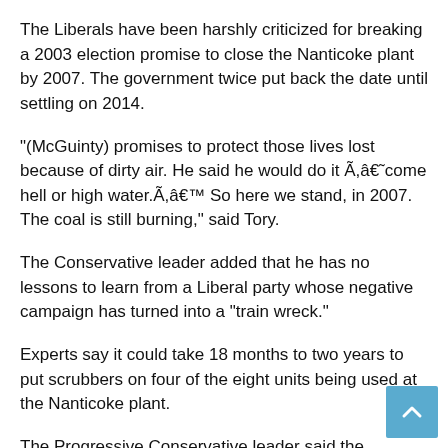The Liberals have been harshly criticized for breaking a 2003 election promise to close the Nanticoke plant by 2007. The government twice put back the date until settling on 2014.
"(McGuinty) promises to protect those lives lost because of dirty air. He said he would do it Ã,â€˜come hell or high water.Ã,â€™ So here we stand, in 2007. The coal is still burning," said Tory.
The Conservative leader added that he has no lessons to learn from a Liberal party whose negative campaign has turned into a "train wreck."
Experts say it could take 18 months to two years to put scrubbers on four of the eight units being used at the Nanticoke plant.
The Progressive Conservative leader said the electricity generated by the Nanticoke plant and the other coal-fired plants is needed by Ontario now. He said Nanticoke alone generates enough electricity to power nearly 2.5 million